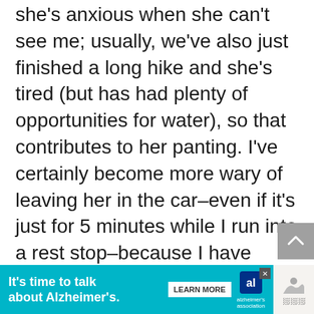she's anxious when she can't see me; usually, we've also just finished a long hike and she's tired (but has had plenty of opportunities for water), so that contributes to her panting. I've certainly become more wary of leaving her in the car–even if it's just for 5 minutes while I run into a rest stop–because I have heard so many stories of people trolling parking lots for dogs left in cars. I certainly think it's
[Figure (other): Advertisement banner: 'It's time to talk about Alzheimer's.' with Alzheimer's Association logo and Learn More button]